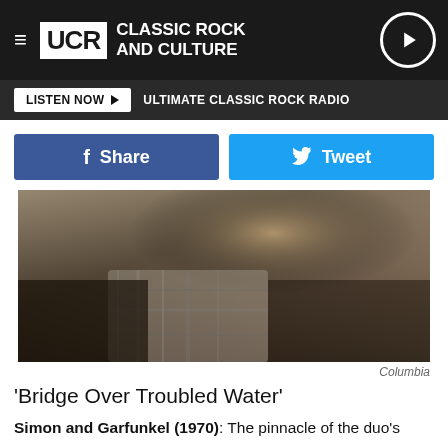UCR CLASSIC ROCK AND CULTURE
LISTEN NOW ▶  ULTIMATE CLASSIC ROCK RADIO
[Figure (screenshot): Share button (Facebook) and Tweet button (Twitter) social sharing row]
[Figure (photo): Black and white / color photo of a man wearing a plaid scarf and brown jacket, cropped at upper body]
Columbia
'Bridge Over Troubled Water'
Simon and Garfunkel (1970): The pinnacle of the duo's career and one of the best albums ever made, 'Bridge Over Troubled Water' showcased Paul Simon's musical restlessness on